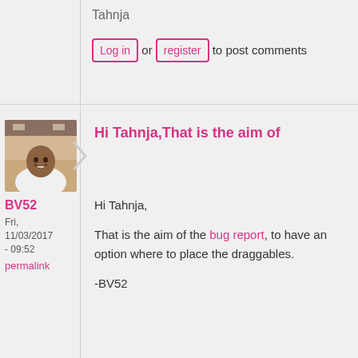Tahnja
Log in or register to post comments
[Figure (photo): Profile photo of a man smiling, wearing a white shirt, indoor setting]
BV52
Fri, 11/03/2017 - 09:52
permalink
Hi Tahnja,That is the aim of
Hi Tahnja,

That is the aim of the bug report, to have an option where to place the draggables.

-BV52